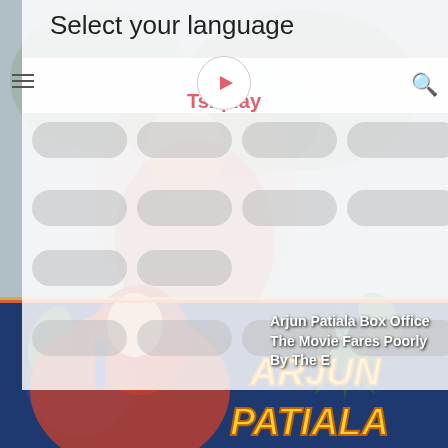Select your language
[Figure (screenshot): Tsnplay app navigation bar with hamburger menu, circular logo with play button, Tsnplay text in pink/red, and search icon]
[Figure (photo): Semi-transparent overlay with pill/button placeholders in rows over a movie website screenshot]
[Figure (photo): Arjun Patiala movie poster showing actress in red floral outfit holding microphone, with 'Arjun Patiala Box Office The Movie Fares Poorly By The E' text overlay and ARJUN PATIALA title in yellow]
Arjun Patiala Box Office The Movie Fares Poorly By The E